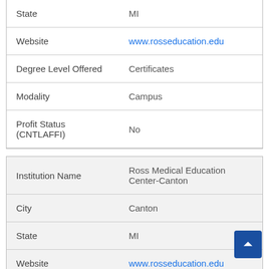| Field | Value |
| --- | --- |
| State | MI |
| Website | www.rosseducation.edu |
| Degree Level Offered | Certificates |
| Modality | Campus |
| Profit Status (CNTLAFFI) | No |
| Field | Value |
| --- | --- |
| Institution Name | Ross Medical Education Center-Canton |
| City | Canton |
| State | MI |
| Website | www.rosseducation.edu |
| Degree Level Offered | Certificates |
| Modality | Campus |